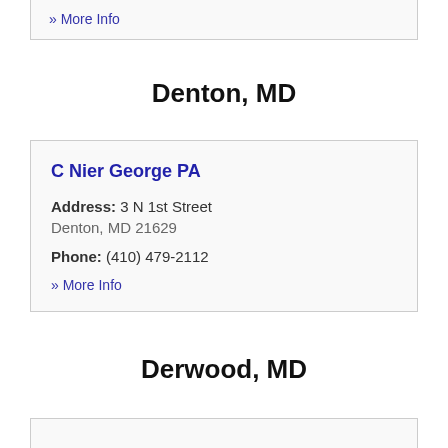» More Info
Denton, MD
C Nier George PA
Address: 3 N 1st Street
Denton, MD 21629
Phone: (410) 479-2112
» More Info
Derwood, MD